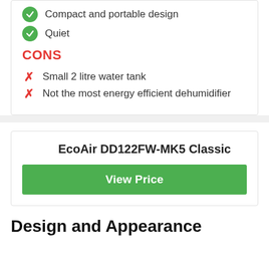Compact and portable design
Quiet
CONS
Small 2 litre water tank
Not the most energy efficient dehumidifier
EcoAir DD122FW-MK5 Classic
View Price
Design and Appearance